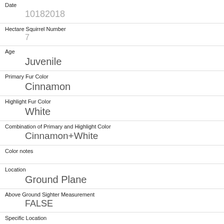Date
10182018
Hectare Squirrel Number
7
Age
Juvenile
Primary Fur Color
Cinnamon
Highlight Fur Color
White
Combination of Primary and Highlight Color
Cinnamon+White
Color notes
Location
Ground Plane
Above Ground Sighter Measurement
FALSE
Specific Location
Running